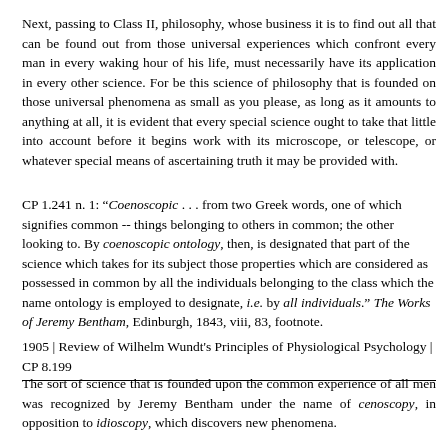Next, passing to Class II, philosophy, whose business it is to find out all that can be found out from those universal experiences which confront every man in every waking hour of his life, must necessarily have its application in every other science. For be this science of philosophy that is founded on those universal phenomena as small as you please, as long as it amounts to anything at all, it is evident that every special science ought to take that little into account before it begins work with its microscope, or telescope, or whatever special means of ascertaining truth it may be provided with.
CP 1.241 n. 1: "Coenoscopic . . . from two Greek words, one of which signifies common -- things belonging to others in common; the other looking to. By coenoscopic ontology, then, is designated that part of the science which takes for its subject those properties which are considered as possessed in common by all the individuals belonging to the class which the name ontology is employed to designate, i.e. by all individuals." The Works of Jeremy Bentham, Edinburgh, 1843, viii, 83, footnote.
1905 | Review of Wilhelm Wundt's Principles of Physiological Psychology | CP 8.199
The sort of science that is founded upon the common experience of all men was recognized by Jeremy Bentham under the name of cenoscopy, in opposition to idioscopy, which discovers new phenomena.